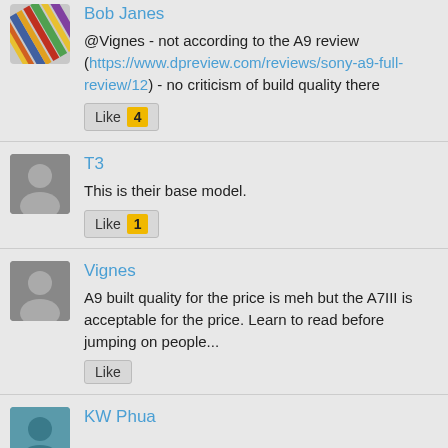Bob Janes
@Vignes - not according to the A9 review (https://www.dpreview.com/reviews/sony-a9-full-review/12) - no criticism of build quality there
Like 4
T3
This is their base model.
Like 1
Vignes
A9 built quality for the price is meh but the A7III is acceptable for the price. Learn to read before jumping on people...
Like
KW Phua